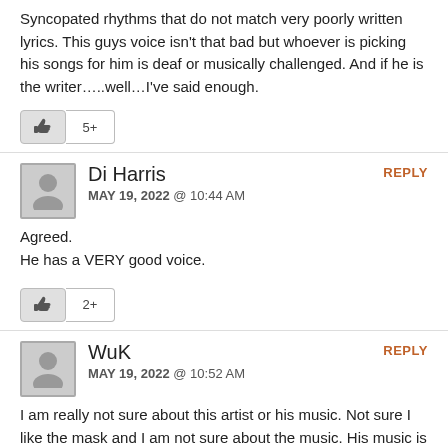Syncopated rhythms that do not match very poorly written lyrics. This guys voice isn't that bad but whoever is picking his songs for him is deaf or musically challenged. And if he is the writer…..well…I've said enough.
[Figure (other): Like button with thumbs up icon and count badge showing 5+]
Di Harris
MAY 19, 2022 @ 10:44 AM

Agreed.
He has a VERY good voice.
[Figure (other): Like button with thumbs up icon and count badge showing 2+]
WuK
MAY 19, 2022 @ 10:52 AM

I am really not sure about this artist or his music. Not sure I like the mask and I am not sure about the music. His music is better to listen to than watch. Odd or weird are the words that comes to mind about this artist and his music.
[Figure (other): Like button with thumbs up icon and count badge showing 5+]